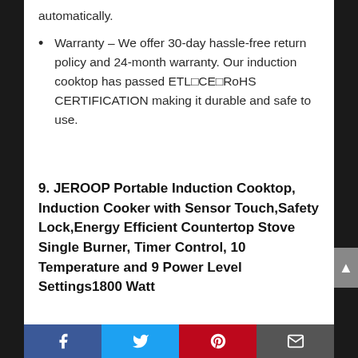automatically.
Warranty – We offer 30-day hassle-free return policy and 24-month warranty. Our induction cooktop has passed ETL□CE□RoHS CERTIFICATION making it durable and safe to use.
9. JEROOP Portable Induction Cooktop, Induction Cooker with Sensor Touch,Safety Lock,Energy Efficient Countertop Stove Single Burner, Timer Control, 10 Temperature and 9 Power Level Settings1800 Watt
Facebook  Twitter  Pinterest  Email